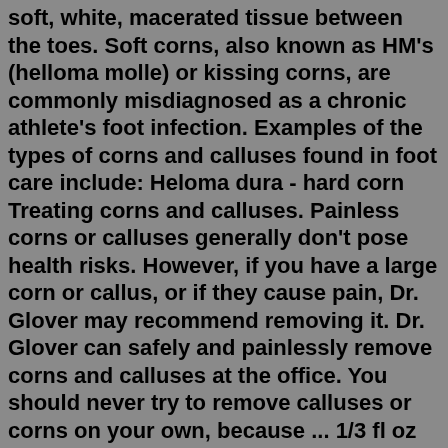soft, white, macerated tissue between the toes. Soft corns, also known as HM's (helloma molle) or kissing corns, are commonly misdiagnosed as a chronic athlete's foot infection. Examples of the types of corns and calluses found in foot care include: Heloma dura - hard corn Treating corns and calluses. Painless corns or calluses generally don't pose health risks. However, if you have a large corn or callus, or if they cause pain, Dr. Glover may recommend removing it. Dr. Glover can safely and painlessly remove corns and calluses at the office. You should never try to remove calluses or corns on your own, because ... 1/3 fl oz (9.8ml) liquid corn/callus remover. 3 cushions. DRUG FACTS (PDF) Warning: Do not use if you have diabetes, poor blood circulation, irritated/infected/reddened skin. Why it Works. Ingredients. How to Use It. Instructional Video. Corns and calluses are caused by the buildup of hard, dead skin over an area of pressure or bony prominence.Callus can develop where there is general friction and pressure, but corns always develop in